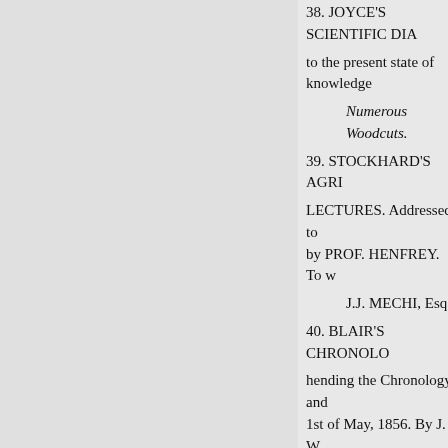38. JOYCE'S SCIENTIFIC DIA
to the present state of knowledge
Numerous Woodcuts.
39. STOCKHARD'S AGRI
LECTURES. Addressed to
by PROF. HENFREY. To w
J.J. MECHI, Esq.
40. BLAIR'S CHRONOLO
hending the Chronology and
1st of May, 1856. By J. W. 
cloth. Double volume. 10s.-
BOHN'S ILLUSTRATED LIBR.
Uniform with the STANDARD L
1 to 8. LODGE'S PORTRAITS O
BRITAIN. 8 Vols. post 8vo. 240
9. CRUIKSHANK'S THREE CO
O. PICKERING'S RACES OF M
11. KITTO'S SCRIPTURE LAN